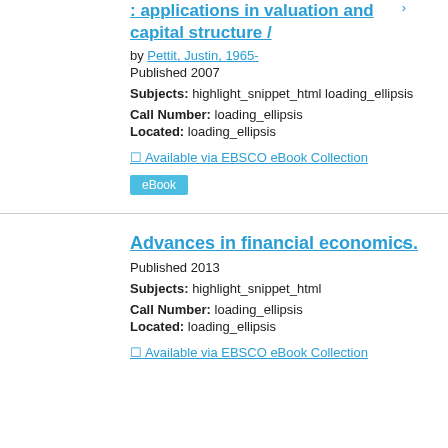: applications in valuation and capital structure /
by Pettit, Justin, 1965-
Published 2007
Subjects: highlight_snippet_html loading_ellipsis
Call Number: loading_ellipsis
Located: loading_ellipsis
Available via EBSCO eBook Collection
eBook
Advances in financial economics.
Published 2013
Subjects: highlight_snippet_html
Call Number: loading_ellipsis
Located: loading_ellipsis
Available via EBSCO eBook Collection